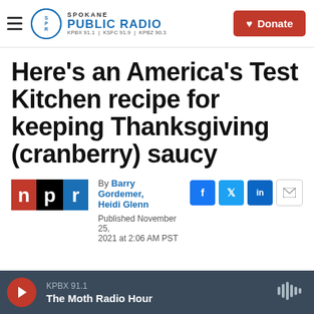Spokane Public Radio — KPBX 91.1 | KSFC 91.9 | KPBZ 90.3 | Donate
Here's an America's Test Kitchen recipe for keeping Thanksgiving (cranberry) saucy
By Barry Gordemer, Heidi Glenn
Published November 25, 2021 at 2:06 AM PST
KPBX 91.1 — The Moth Radio Hour